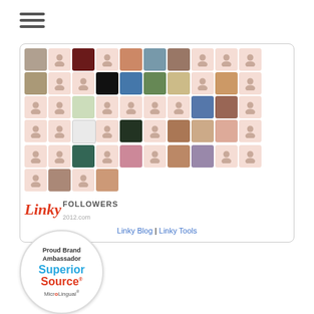[Figure (other): Hamburger menu icon (three horizontal lines)]
[Figure (screenshot): Linky Followers widget showing a grid of follower avatar thumbnails, a Linky Followers logo, and links to Linky Blog and Linky Tools]
[Figure (logo): Proud Brand Ambassador badge for Superior Source MicroLingual vitamins — circular badge with text and logos]